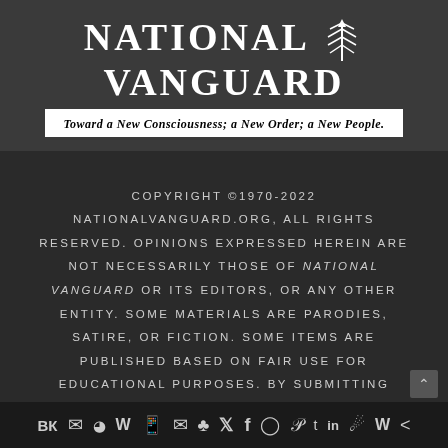[Figure (logo): National Vanguard logo with torch/laurel emblem and tagline 'Toward a New Consciousness; a New Order; a New People.']
COPYRIGHT ©1970-2022 NATIONALVANGUARD.ORG, ALL RIGHTS RESERVED. OPINIONS EXPRESSED HEREIN ARE NOT NECESSARILY THOSE OF NATIONAL VANGUARD OR ITS EDITORS, OR ANY OTHER ENTITY. SOME MATERIALS ARE PARODIES, SATIRE, OR FICTION. SOME ITEMS ARE PUBLISHED BASED ON FAIR USE FOR EDUCATIONAL PURPOSES. BY SUBMITTING MATERIAL YOU GRANT US AN UNLIMITED NON-EXCLUSIVE LICENSE TO USE THE MATERIAL. DOWN THESE MEAN STREETS A MAN MUST GO WHO IS NOT HIMSELF MEAN, WHO IS NEITHER TARNISHED NOR AFRAID
[Figure (other): Social media icon bar at bottom: VK, Telegram, Reddit, WordPress, WhatsApp, Email, Layers, Twitter, Facebook, Instagram, Pinterest, Tumblr, LinkedIn, Gift/share, W (Webtoons?), share]